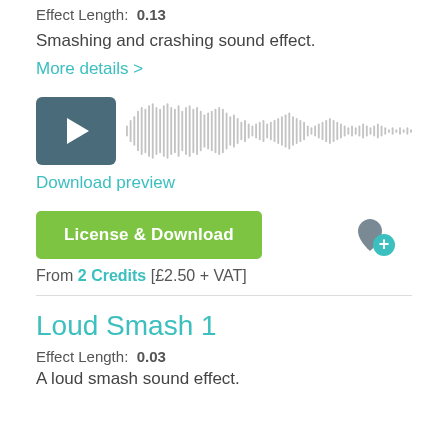Effect Length:  0.13
Smashing and crashing sound effect.
More details >
[Figure (other): Audio player with play button (dark teal square) and waveform visualization showing audio amplitude]
Download preview
License & Download
From 2 Credits [£2.50 + VAT]
Loud Smash 1
Effect Length:  0.03
A loud smash sound effect.